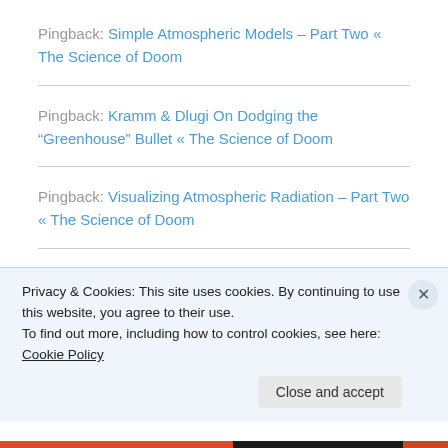Pingback: Simple Atmospheric Models – Part Two « The Science of Doom
Pingback: Kramm & Dlugi On Dodging the “Greenhouse” Bullet « The Science of Doom
Pingback: Visualizing Atmospheric Radiation – Part Two « The Science of Doom
Pingback: Visualizing Atmospheric Radiation – Part [truncated/faded]
Privacy & Cookies: This site uses cookies. By continuing to use this website, you agree to their use.
To find out more, including how to control cookies, see here: Cookie Policy